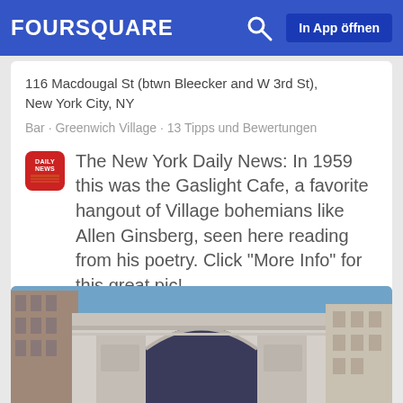FOURSQUARE   In App öffnen
116 Macdougal St (btwn Bleecker and W 3rd St), New York City, NY
Bar · Greenwich Village · 13 Tipps und Bewertungen
The New York Daily News: In 1959 this was the Gaslight Cafe, a favorite hangout of Village bohemians like Allen Ginsberg, seen here reading from his poetry. Click "More Info" for this great pic! Mehr erfahren.
[Figure (photo): Photo of Washington Square Park arch in New York City against a blue sky]